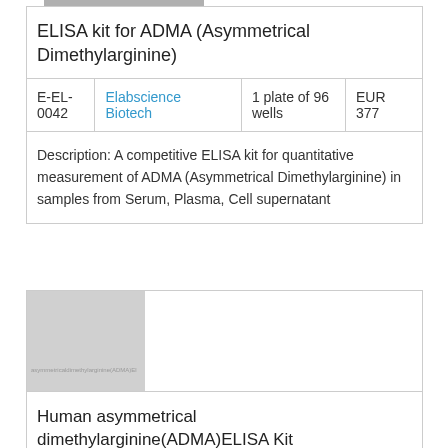ELISA kit for ADMA (Asymmetrical Dimethylarginine)
|  |  |  |  |
| --- | --- | --- | --- |
| E-EL-0042 | Elabscience Biotech | 1 plate of 96 wells | EUR 377 |
Description: A competitive ELISA kit for quantitative measurement of ADMA (Asymmetrical Dimethylarginine) in samples from Serum, Plasma, Cell supernatant
[Figure (photo): Gray placeholder image with faint text label for ADMA ELISA kit product]
Human asymmetrical dimethylarginine(ADMA)ELISA Kit